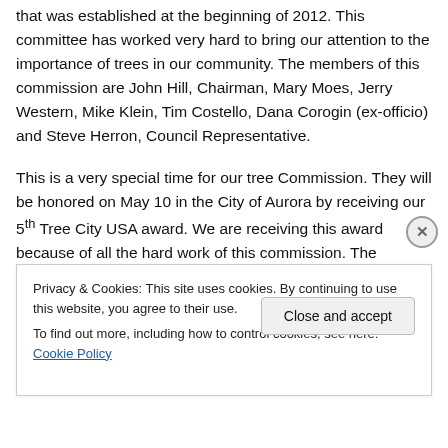that was established at the beginning of 2012. This committee has worked very hard to bring our attention to the importance of trees in our community. The members of this commission are John Hill, Chairman, Mary Moes, Jerry Western, Mike Klein, Tim Costello, Dana Corogin (ex-officio) and Steve Herron, Council Representative.
This is a very special time for our tree Commission. They will be honored on May 10 in the City of Aurora by receiving our 5th Tree City USA award. We are receiving this award because of all the hard work of this commission. The commission also publishes articles hi...
Privacy & Cookies: This site uses cookies. By continuing to use this website, you agree to their use.
To find out more, including how to control cookies, see here: Cookie Policy